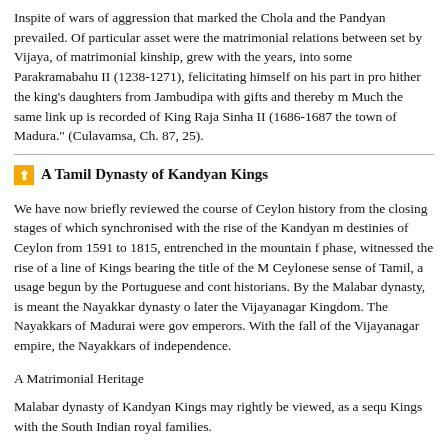Inspite of wars of aggression that marked the Chola and the Pandyan prevailed. Of particular asset were the matrimonial relations between set by Vijaya, of matrimonial kinship, grew with the years, into some Parakramabahu II (1238-1271), felicitating himself on his part in pro hither the king's daughters from Jambudipa with gifts and thereby m Much the same link up is recorded of King Raja Sinha II (1686-1687 the town of Madura." (Culavamsa, Ch. 87, 25).
A Tamil Dynasty of Kandyan Kings
We have now briefly reviewed the course of Ceylon history from the closing stages of which synchronised with the rise of the Kandyan m destinies of Ceylon from 1591 to 1815, entrenched in the mountain f phase, witnessed the rise of a line of Kings bearing the title of the M Ceylonese sense of Tamil, a usage begun by the Portuguese and cont historians. By the Malabar dynasty, is meant the Nayakkar dynasty o later the Vijayanagar Kingdom. The Nayakkars of Madurai were gov emperors. With the fall of the Vijayanagar empire, the Nayakkars of independence.
A Matrimonial Heritage
Malabar dynasty of Kandyan Kings may rightly be viewed, as a sequ Kings with the South Indian royal families.